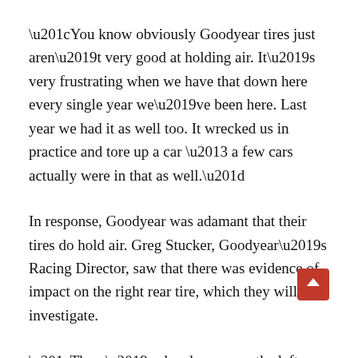“You know obviously Goodyear tires just aren’t very good at holding air. It’s very frustrating when we have that down here every single year we’ve been here. Last year we had it as well too. It wrecked us in practice and tore up a car – a few cars actually were in that as well.”
In response, Goodyear was adamant that their tires do hold air. Greg Stucker, Goodyear’s Racing Director, saw that there was evidence of impact on the right rear tire, which they will investigate.
“There’s also damage on the left rear, which we feel could have contributed, but again, until you know exactly what it looks like inside [the tire], it’s tough to say for sure,” Stucker said. “But certainly, both tires